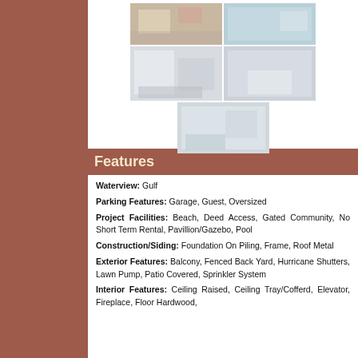[Figure (photo): Grid of bathroom/interior photos of a coastal property]
Features
Waterview: Gulf
Parking Features: Garage, Guest, Oversized
Project Facilities: Beach, Deed Access, Gated Community, No Short Term Rental, Pavillion/Gazebo, Pool
Construction/Siding: Foundation On Piling, Frame, Roof Metal
Exterior Features: Balcony, Fenced Back Yard, Hurricane Shutters, Lawn Pump, Patio Covered, Sprinkler System
Interior Features: Ceiling Raised, Ceiling Tray/Cofferd, Elevator, Fireplace, Floor Hardwood,